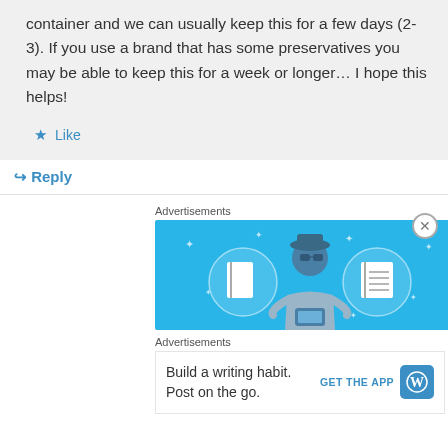container and we can usually keep this for a few days (2-3). If you use a brand that has some preservatives you may be able to keep this for a week or longer… I hope this helps!
Like
Reply
Advertisements
[Figure (illustration): Advertisement banner with blue background showing an illustrated person holding a phone, flanked by two circular icons with notebook graphics]
Advertisements
[Figure (illustration): WordPress app advertisement with text 'Build a writing habit. Post on the go.' and GET THE APP button with WordPress logo]